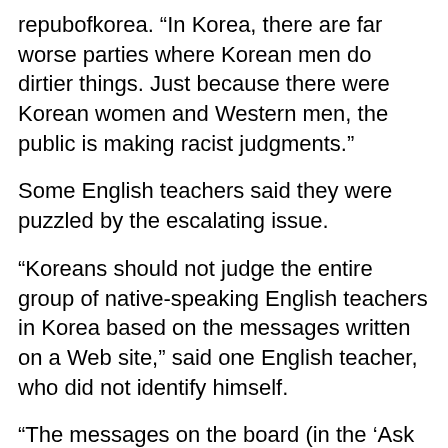repubofkorea. “In Korea, there are far worse parties where Korean men do dirtier things. Just because there were Korean women and Western men, the public is making racist judgments.”
Some English teachers said they were puzzled by the escalating issue.
“Koreans should not judge the entire group of native-speaking English teachers in Korea based on the messages written on a Web site,” said one English teacher, who did not identify himself.
“The messages on the board (in the ‘Ask the Playboy’ column) weren’t meant to be taken seriously,” he said, adding that scenes from the party that Koreans called “nasty” and “immoral” were considered acceptable in North America.
To add fuel to the fire, however, another shocking online message written on a Web site for English teachers in Korea, bearing the title “How to